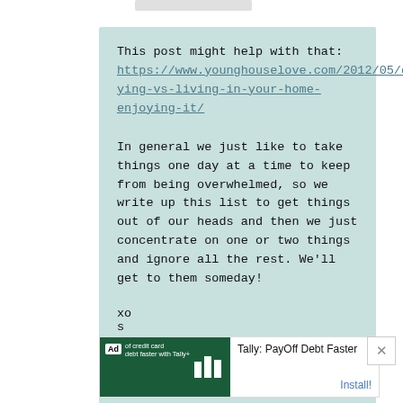This post might help with that: https://www.younghouselove.com/2012/05/diying-vs-living-in-your-home-enjoying-it/

In general we just like to take things one day at a time to keep from being overwhelmed, so we write up this list to get things out of our heads and then we just concentrate on one or two things and ignore all the rest. We'll get to them someday!

xo
s
[Figure (screenshot): Ad banner for Tally: PayOff Debt Faster with green background and install button]